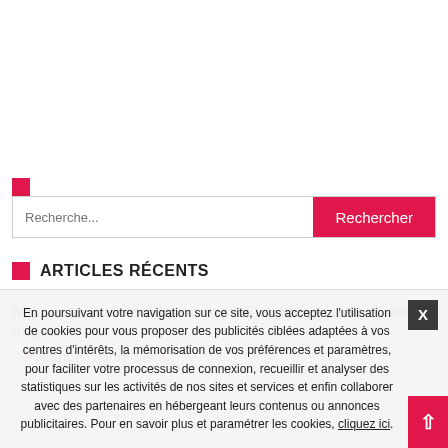[Figure (other): Red square icon/logo placeholder]
Recherche...
ARTICLES RÉCENTS
https www onfeetnation com profiles blogs packers-are-unques
Politique... Bonvoisin...
En poursuivant votre navigation sur ce site, vous acceptez l'utilisation de cookies pour vous proposer des publicités ciblées adaptées à vos centres d'intérêts, la mémorisation de vos préférences et paramètres, pour faciliter votre processus de connexion, recueillir et analyser des statistiques sur les activités de nos sites et services et enfin collaborer avec des partenaires en hébergeant leurs contenus ou annonces publicitaires. Pour en savoir plus et paramétrer les cookies, cliquez ici.